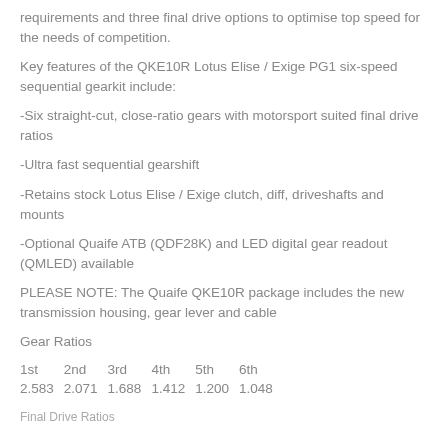requirements and three final drive options to optimise top speed for the needs of competition.
Key features of the QKE10R Lotus Elise / Exige PG1 six-speed sequential gearkit include:
-Six straight-cut, close-ratio gears with motorsport suited final drive ratios
-Ultra fast sequential gearshift
-Retains stock Lotus Elise / Exige clutch, diff, driveshafts and mounts
-Optional Quaife ATB (QDF28K) and LED digital gear readout (QMLED) available
PLEASE NOTE: The Quaife QKE10R package includes the new transmission housing, gear lever and cable
Gear Ratios
| 1st | 2nd | 3rd | 4th | 5th | 6th |
| --- | --- | --- | --- | --- | --- |
| 2.583 | 2.071 | 1.688 | 1.412 | 1.200 | 1.048 |
Final Drive Ratios